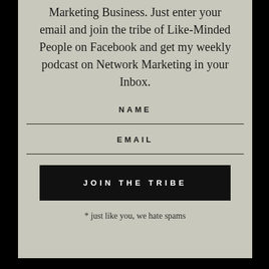Marketing Business. Just enter your email and join the tribe of Like-Minded People on Facebook and get my weekly podcast on Network Marketing in your Inbox.
NAME
EMAIL
JOIN THE TRIBE
* just like you, we hate spams